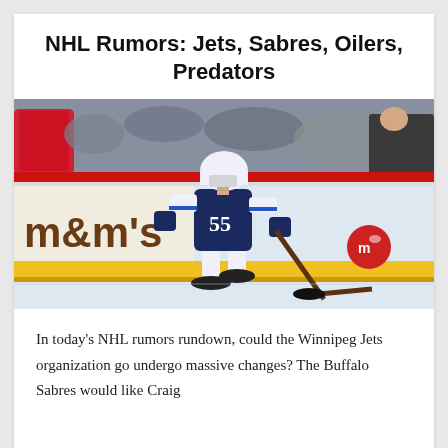NHL Rumors: Jets, Sabres, Oilers, Predators
[Figure (photo): Hockey player wearing Winnipeg Jets #55 white away jersey skating on ice with stick, M&M's advertising board in background, spectators visible]
In today's NHL rumors rundown, could the Winnipeg Jets organization go undergo massive changes? The Buffalo Sabres would like Craig